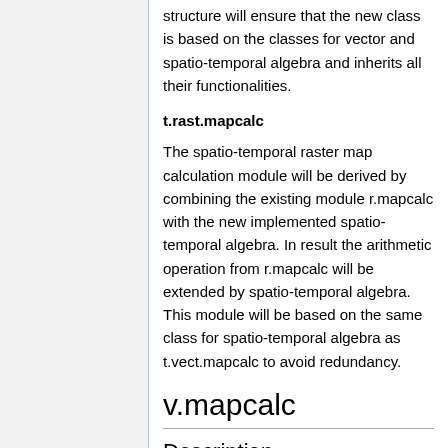structure will ensure that the new class is based on the classes for vector and spatio-temporal algebra and inherits all their functionalities.
t.rast.mapcalc
The spatio-temporal raster map calculation module will be derived by combining the existing module r.mapcalc with the new implemented spatio-temporal algebra. In result the arithmetic operation from r.mapcalc will be extended by spatio-temporal algebra. This module will be based on the same class for spatio-temporal algebra as t.vect.mapcalc to avoid redundancy.
v.mapcalc
Description